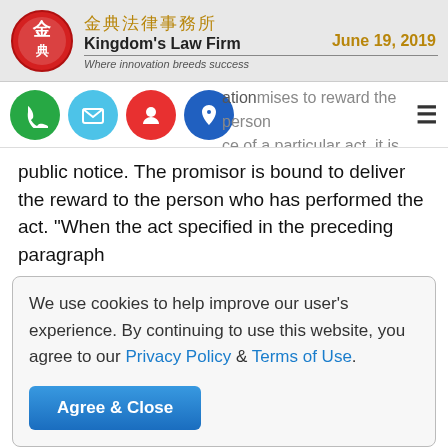金典法律事務所 Kingdom's Law Firm Where innovation breeds success | June 19, 2019
[Figure (logo): Kingdom's Law Firm red circular logo with Chinese characters]
...er public notice to reward the person for his performance of a particular act, it is a rewarding
public notice. The promisor is bound to deliver the reward to the person who has performed the act. "When the act specified in the preceding paragraph
We use cookies to help improve our user's experience. By continuing to use this website, you agree to our Privacy Policy & Terms of Use.
Agree & Close
preceding paragraph, if the promisor has delivered the reward in good faith to the person who has first notified